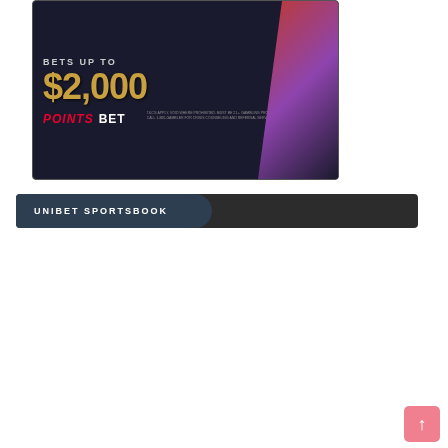[Figure (advertisement): PointsBet sports betting advertisement showing '$2,000' in gold text with 'BETS UP TO' above it, a woman holding a baseball bat on the right side in red lighting, and the PointsBet logo at the bottom with fine print disclaimer text.]
UNIBET SPORTSBOOK
[Figure (advertisement): Unibet Sportsbook advertisement showing a basketball player dunking, with text 'PLAY ANYWHERE IN PENNSYLVANIA!' where 'IN' and 'PENNSYLVANIA!' are in green, set against a dark background with green panel on left side.]